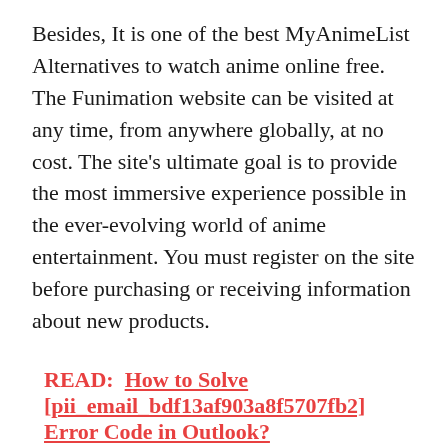Besides, It is one of the best MyAnimeList Alternatives to watch anime online free. The Funimation website can be visited at any time, from anywhere globally, at no cost. The site's ultimate goal is to provide the most immersive experience possible in the ever-evolving world of anime entertainment. You must register on the site before purchasing or receiving information about new products.
READ:  How to Solve [pii_email_bdf13af903a8f5707fb2] Error Code in Outlook?
16. Chia-anime